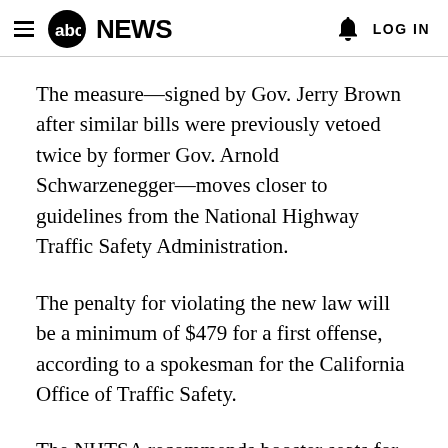abc NEWS  LOG IN
The measure—signed by Gov. Jerry Brown after similar bills were previously vetoed twice by former Gov. Arnold Schwarzenegger—moves closer to guidelines from the National Highway Traffic Safety Administration.
The penalty for violating the new law will be a minimum of $479 for a first offense, according to a spokesman for the California Office of Traffic Safety.
The NHTSA recommends booster seats for 8 to 12 year olds, or until the child can fit properly